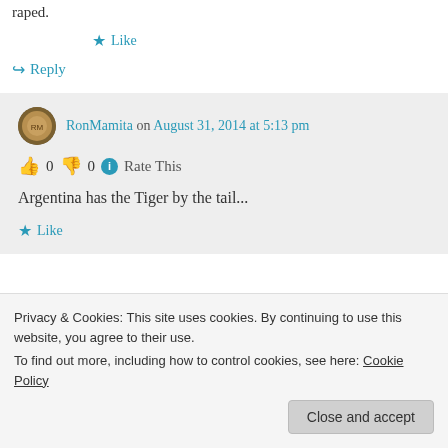raped.
★ Like
↪ Reply
RonMamita on August 31, 2014 at 5:13 pm
👍 0 👎 0 ℹ Rate This
Argentina has the Tiger by the tail...
★ Like
Privacy & Cookies: This site uses cookies. By continuing to use this website, you agree to their use. To find out more, including how to control cookies, see here: Cookie Policy
Close and accept
👍 0 👎 0 ℹ Rate This